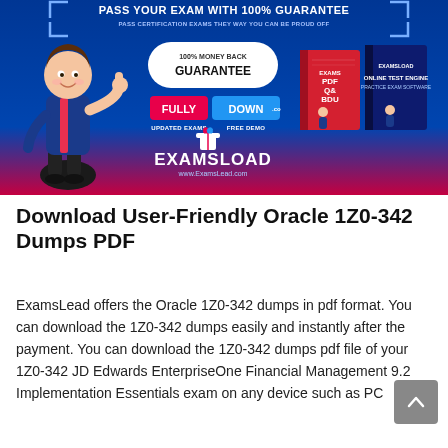[Figure (illustration): ExamsLead promotional banner with cartoon character giving thumbs up, 100% Money Back Guarantee badge, FULLY/DOWN buttons, UPDATED EXAMS/FREE DEMO labels, EXAMSLOAD logo, www.ExamsLead.com URL, and exam book product images on blue/red background]
Download User-Friendly Oracle 1Z0-342 Dumps PDF
ExamsLead offers the Oracle 1Z0-342 dumps in pdf format. You can download the 1Z0-342 dumps easily and instantly after the payment. You can download the 1Z0-342 dumps pdf file of your 1Z0-342 JD Edwards EnterpriseOne Financial Management 9.2 Implementation Essentials exam on any device such as PC